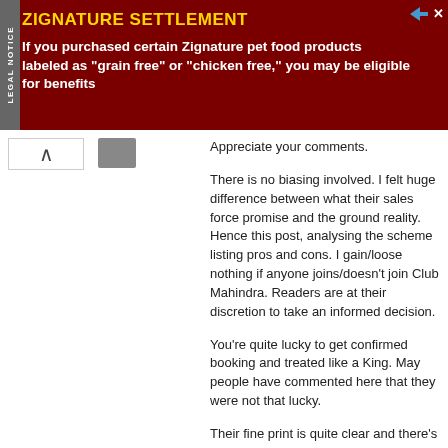[Figure (other): Legal notice advertisement banner for Zignature Settlement on dark red background. Text reads: ZIGNATURE SETTLEMENT - If you purchased certain Zignature pet food products labeled as 'grain free' or 'chicken free,' you may be eligible for benefits. Has a 'LEGAL NOTICE' tab on the left side and dismiss icons top right.]
Appreciate your comments.
There is no biasing involved. I felt huge difference between what their sales force promise and the ground reality. Hence this post, analysing the scheme listing pros and cons. I gain/loose nothing if anyone joins/doesn't join Club Mahindra. Readers are at their discretion to take an informed decision.
You're quite lucky to get confirmed booking and treated like a King. May people have commented here that they were not that lucky.
Their fine print is quite clear and there's nothing illegal in their business, but members often feel cheated due to what advertisements promise and what they end up getting.
Thanks again. Do read my latest post on Branding tips for Club Mahindra.